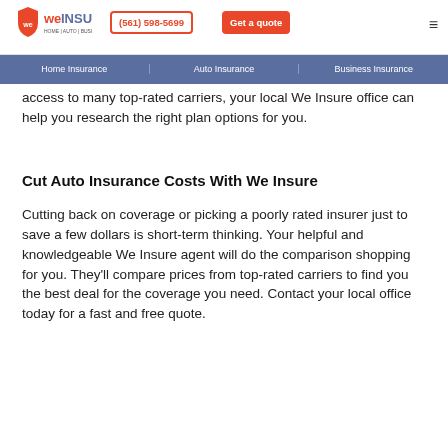We Insure | Home | Auto | Business | (561) 598-5699 | Get a quote
Home Insurance | Auto Insurance | Business Insurance
access to many top-rated carriers, your local We Insure office can help you research the right plan options for you.
Cut Auto Insurance Costs With We Insure
Cutting back on coverage or picking a poorly rated insurer just to save a few dollars is short-term thinking. Your helpful and knowledgeable We Insure agent will do the comparison shopping for you. They'll compare prices from top-rated carriers to find you the best deal for the coverage you need. Contact your local office today for a fast and free quote.